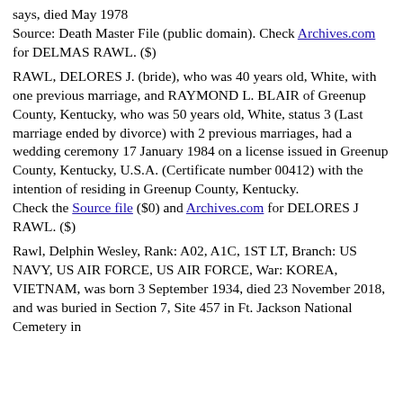says, died May 1978
Source: Death Master File (public domain). Check Archives.com for DELMAS RAWL. ($)
RAWL, DELORES J. (bride), who was 40 years old, White, with one previous marriage, and RAYMOND L. BLAIR of Greenup County, Kentucky, who was 50 years old, White, status 3 (Last marriage ended by divorce) with 2 previous marriages, had a wedding ceremony 17 January 1984 on a license issued in Greenup County, Kentucky, U.S.A. (Certificate number 00412) with the intention of residing in Greenup County, Kentucky.
Check the Source file ($0) and Archives.com for DELORES J RAWL. ($)
Rawl, Delphin Wesley, Rank: A02, A1C, 1ST LT, Branch: US NAVY, US AIR FORCE, US AIR FORCE, War: KOREA, VIETNAM, was born 3 September 1934, died 23 November 2018, and was buried in Section 7, Site 457 in Ft. Jackson National Cemetery in Columbia, South Carolina, U.S.A.